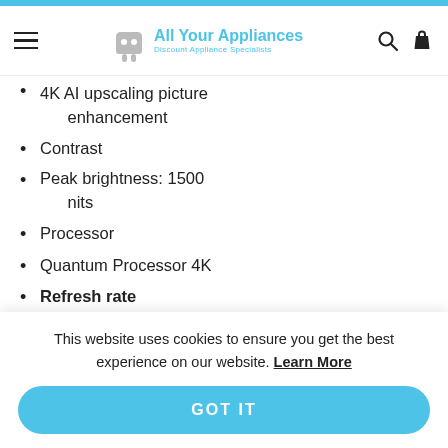All Your Appliances — Discount Appliance Specialists
4K AI upscaling picture enhancement
Contrast
Peak brightness: 1500 nits
Processor
Quantum Processor 4K
Refresh rate
120 Hz
Gaming technology
AMD FreeSync
This website uses cookies to ensure you get the best experience on our website. Learn More
GOT IT